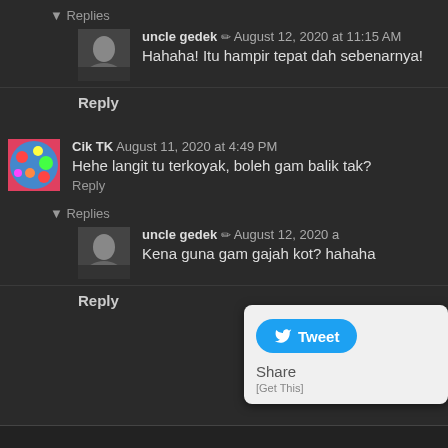▼ Replies
uncle gedek ✏ August 12, 2020 at 11:15 AM
Hahaha! Itu hampir tepat dah sebenarnya!
Reply
Cik TK  August 11, 2020 at 4:49 PM
Hehe langit tu terkoyak, boleh gam balik tak?
Reply
▼ Replies
uncle gedek ✏ August 12, 2020 a
Kena guna gam gajah kot? hahaha
Reply
[Figure (screenshot): Twitter Tweet popup with Tweet button and Share/[Get This] options]